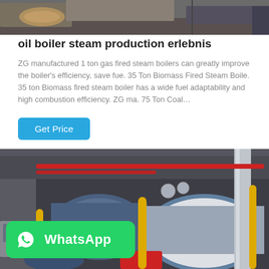[Figure (photo): Top partial image showing industrial machinery parts on a factory floor, cropped at top of page]
oil boiler steam production erlebnis
ZG manufactured 1 ton gas fired steam boilers can greatly improve the boiler's efficiency, save fue. 35 Ton Biomass Fired Steam Boile. 35 ton Biomass fired steam boiler has a wide fuel adaptability and high combustion efficiency. ZG ma. 75 Ton Coal…
[Figure (screenshot): Blue 'Get Price' button]
[Figure (photo): Industrial boiler room with multiple blue cylindrical steam boilers, red and yellow pipes, gauges, and equipment. WhatsApp overlay button in lower left.]